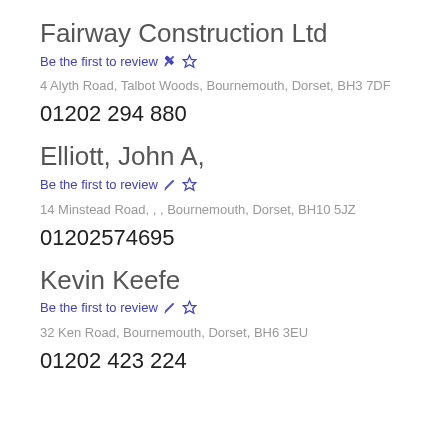Fairway Construction Ltd
Be the first to review
4 Alyth Road, Talbot Woods, Bournemouth, Dorset, BH3 7DF
01202 294 880
Elliott, John A,
Be the first to review
14 Minstead Road, , , Bournemouth, Dorset, BH10 5JZ
01202574695
Kevin Keefe
Be the first to review
32 Ken Road, Bournemouth, Dorset, BH6 3EU
01202 423 224